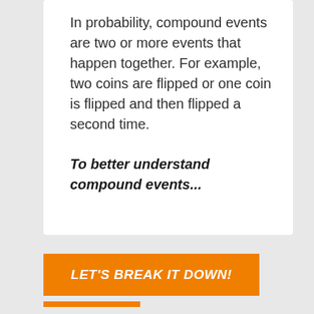In probability, compound events are two or more events that happen together. For example, two coins are flipped or one coin is flipped and then flipped a second time.
To better understand compound events...
LET'S BREAK IT DOWN!